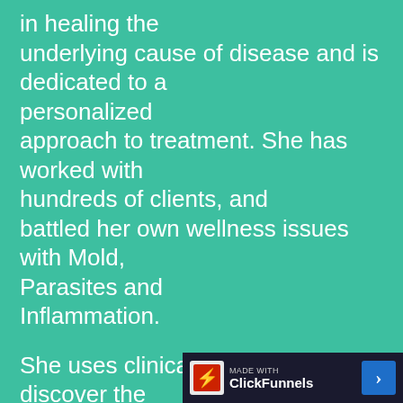in healing the underlying cause of disease and is dedicated to a personalized approach to treatment. She has worked with hundreds of clients, and battled her own wellness issues with Mold, Parasites and Inflammation.
She uses clinical investigation to discover the root cause of chronic diseases such as thyroid issues, autoimmune conditions, hormonal dysfunctions, digestive disorders, fibromyalgia and more. Her personal journey combined with extensive education and a highl
[Figure (logo): ClickFunnels branding bar with logo icon, 'made with ClickFunnels' text, and a blue arrow button]